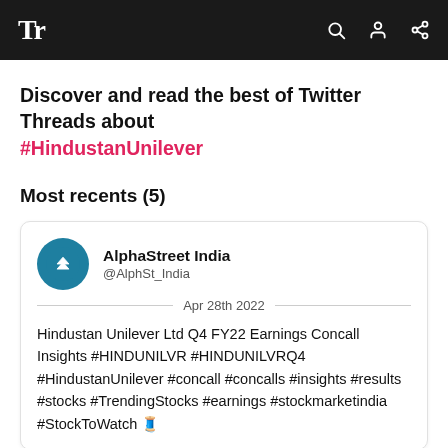Tr
Discover and read the best of Twitter Threads about #HindustanUnilever
Most recents (5)
AlphaStreet India @AlphSt_India Apr 28th 2022 Hindustan Unilever Ltd Q4 FY22 Earnings Concall Insights #HINDUNILVR #HINDUNILVRQ4 #HindustanUnilever #concall #concalls #insights #results #stocks #TrendingStocks #earnings #stockmarketindia #StockToWatch 🧵